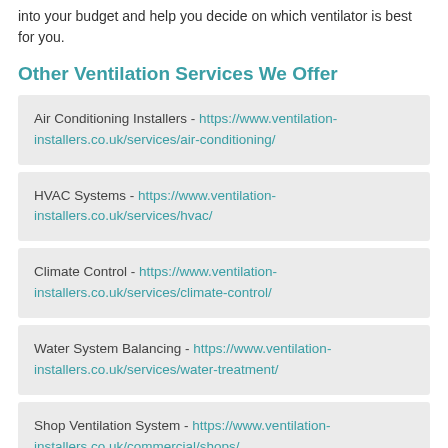into your budget and help you decide on which ventilator is best for you.
Other Ventilation Services We Offer
Air Conditioning Installers - https://www.ventilation-installers.co.uk/services/air-conditioning/
HVAC Systems - https://www.ventilation-installers.co.uk/services/hvac/
Climate Control - https://www.ventilation-installers.co.uk/services/climate-control/
Water System Balancing - https://www.ventilation-installers.co.uk/services/water-treatment/
Shop Ventilation System - https://www.ventilation-installers.co.uk/commercial/shops/